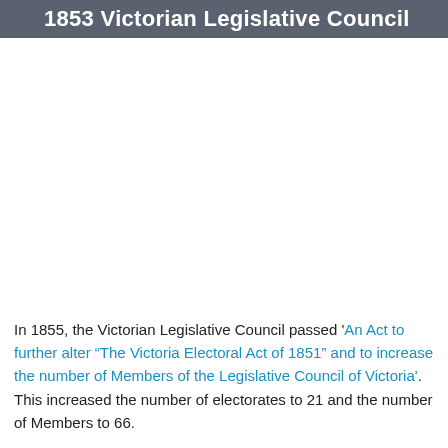1853 Victorian Legislative Council
In 1855, the Victorian Legislative Council passed 'An Act to further alter “The Victoria Electoral Act of 1851” and to increase the number of Members of the Legislative Council of Victoria'. This increased the number of electorates to 21 and the number of Members to 66.